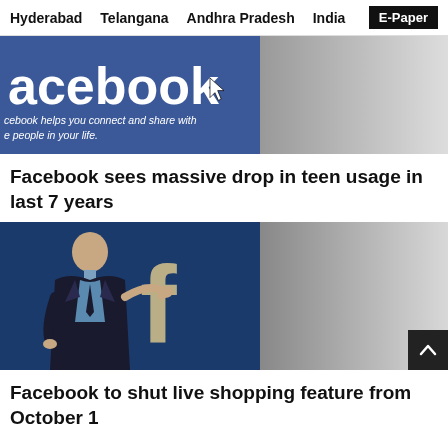Hyderabad   Telangana   Andhra Pradesh   India   E-Paper
[Figure (photo): Facebook homepage screenshot showing the Facebook logo and tagline 'Facebook helps you connect and share with the people in your life.' with a cursor icon. Right side fades to grey.]
Facebook sees massive drop in teen usage in last 7 years
[Figure (illustration): Illustration of a businessman in a suit gesturing toward the large Facebook 'f' logo on a dark blue background. Right side fades to grey. A scroll-to-top button (chevron up) is in the bottom-right corner.]
Facebook to shut live shopping feature from October 1